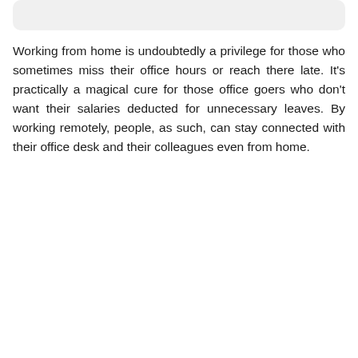[Figure (other): Gray rounded rectangle banner/header box at the top of the page]
Working from home is undoubtedly a privilege for those who sometimes miss their office hours or reach there late. It's practically a magical cure for those office goers who don't want their salaries deducted for unnecessary leaves. By working remotely, people, as such, can stay connected with their office desk and their colleagues even from home.